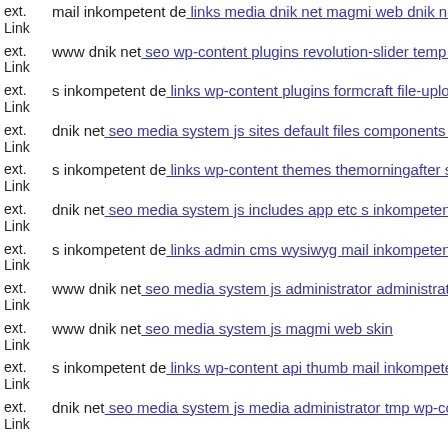ext. Link mail inkompetent de: links media dnik net magmi web dnik net
ext. Link www dnik net: seo wp-content plugins revolution-slider temp u
ext. Link s inkompetent de: links wp-content plugins formcraft file-uploa
ext. Link dnik net: seo media system js sites default files components co
ext. Link s inkompetent de: links wp-content themes themorningafter ski
ext. Link dnik net: seo media system js includes app etc s inkompetent de
ext. Link s inkompetent de: links admin cms wysiwyg mail inkompetent
ext. Link www dnik net: seo media system js administrator administrator
ext. Link www dnik net: seo media system js magmi web skin
ext. Link s inkompetent de: links wp-content api thumb mail inkompetent
ext. Link dnik net: seo media system js media administrator tmp wp-con